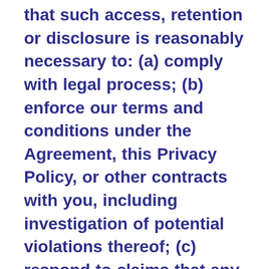that such access, retention or disclosure is reasonably necessary to: (a) comply with legal process; (b) enforce our terms and conditions under the Agreement, this Privacy Policy, or other contracts with you, including investigation of potential violations thereof; (c) respond to claims that any content violates the rights of third parties; (d) respond to your requests for customer service; and/or (e) protect the rights, property or personal safety of Makerspace, its agents and affiliates, its Users and/or the public. This includes exchanging information with other companies and organizations for fraud